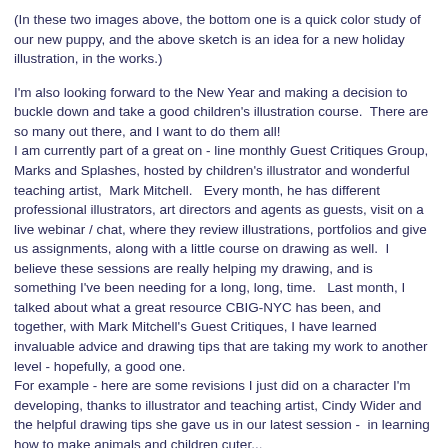(In these two images above, the bottom one is a quick color study of our new puppy, and the above sketch is an idea for a new holiday illustration, in the works.)
I'm also looking forward to the New Year and making a decision to buckle down and take a good children's illustration course.  There are so many out there, and I want to do them all!
I am currently part of a great on - line monthly Guest Critiques Group, Marks and Splashes, hosted by children's illustrator and wonderful teaching artist,  Mark Mitchell.   Every month, he has different professional illustrators, art directors and agents as guests, visit on a live webinar / chat, where they review illustrations, portfolios and give us assignments, along with a little course on drawing as well.  I believe these sessions are really helping my drawing, and is something I've been needing for a long, long, time.   Last month, I talked about what a great resource CBIG-NYC has been, and together, with Mark Mitchell's Guest Critiques, I have learned invaluable advice and drawing tips that are taking my work to another level - hopefully, a good one.
For example - here are some revisions I just did on a character I'm developing, thanks to illustrator and teaching artist, Cindy Wider and the helpful drawing tips she gave us in our latest session -  in learning how to make animals and children cuter...